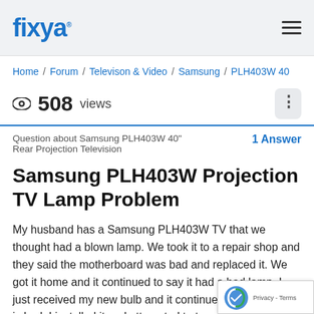fixya
Home / Forum / Televison & Video / Samsung / PLH403W 40
508 views
Question about Samsung PLH403W 40" Rear Projection Television   1 Answer
Samsung PLH403W Projection TV Lamp Problem
My husband has a Samsung PLH403W TV that we thought had a blown lamp. We took it to a repair shop and they said the motherboard was bad and replaced it. We got it home and it continued to say it had a bad lamp. I just received my new bulb and it continues to say the bulb is bad. I installed it and attempted to turn on the TV...